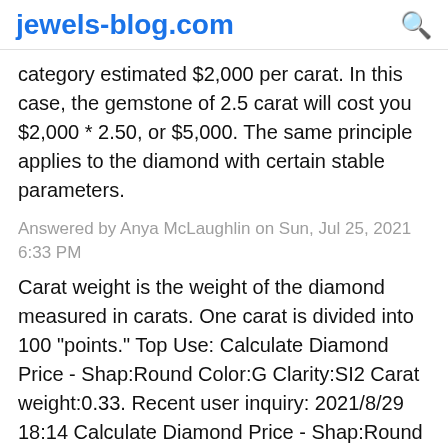jewels-blog.com
category estimated $2,000 per carat. In this case, the gemstone of 2.5 carat will cost you $2,000 * 2.50, or $5,000. The same principle applies to the diamond with certain stable parameters.
Answered by Anya McLaughlin on Sun, Jul 25, 2021 6:33 PM
Carat weight is the weight of the diamond measured in carats. One carat is divided into 100 "points." Top Use: Calculate Diamond Price - Shap:Round Color:G Clarity:SI2 Carat weight:0.33. Recent user inquiry: 2021/8/29 18:14 Calculate Diamond Price - Shap:Round Color:I Clarity:I2 Carat weight:.25.
Answered by Sally Wolff on Sun, Jul 25, 2021 7:35 PM